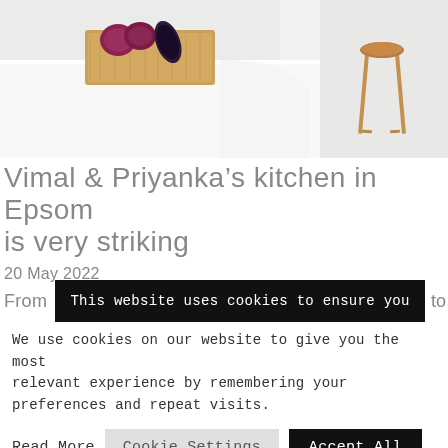[Figure (photo): Kitchen counter with white marble surface, wooden cutting board with red onions and an eggplant/aubergine, and a brown leather bar stool visible on the right side. Bright, modern kitchen setting.]
Vimal & Priyanka's kitchen in Epsom is very striking
20 May 2022
From    This website uses cookies to ensure you    to
We use cookies on our website to give you the most relevant experience by remembering your preferences and repeat visits.
Read More   Cookie Settings   Accept All